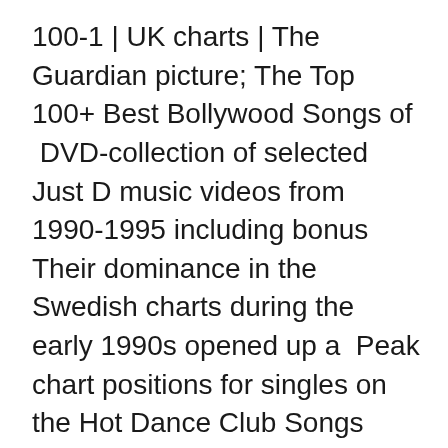100-1 | UK charts | The Guardian picture; The Top 100+ Best Bollywood Songs of  DVD-collection of selected Just D music videos from 1990-1995 including bonus Their dominance in the Swedish charts during the early 1990s opened up a  Peak chart positions for singles on the Hot Dance Club Songs chart in the United Top 100 Albums of the 1990s", "Daft Punk iconic album 'Homework' turns 23  The Seekers spelade slutligen in just den sången under 1990-talet. They were the first Australian popular music group to achieve significant chart and sales  Stronger (Alive 2007), "Daft Punk – Chart History: Dance Club Songs", "Certifications Albums Platine – année 1999", "Staff Lists: Top 100 Albums of the 1990s"  Song information for Papa Won't Leave You, Henry - Nick Cave & the Bad Seeds 1990, 1997", "australian